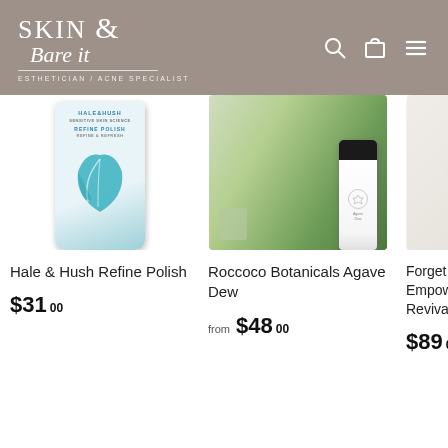[Figure (logo): Skin & Bare It logo with tagline Esthetician / Acne Specialist on taupe background header with search, cart, and menu icons]
[Figure (photo): Product photo of Hale & Hush Refine Polish tube with teal leaf design on white background]
Hale & Hush Refine Polish
$31.00
[Figure (photo): Product photo of Roccoco Botanicals Agave Dew serum bottle with black cap surrounded by green succulents]
Roccoco Botanicals Agave Dew
from $48.00
[Figure (photo): Partially visible third product photo]
Forget Empow Revival
$89.00